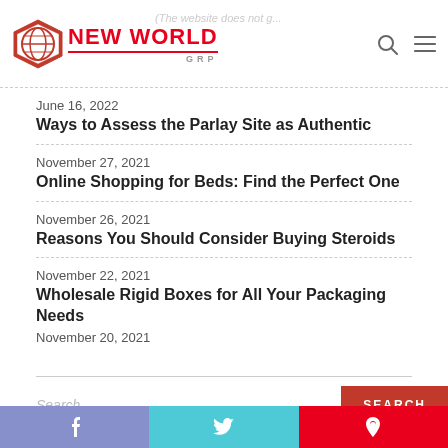[Figure (logo): New World GRP logo with globe icon and red text]
(The website does not g...)
June 16, 2022
Ways to Assess the Parlay Site as Authentic
November 27, 2021
Online Shopping for Beds: Find the Perfect One
November 26, 2021
Reasons You Should Consider Buying Steroids
November 22, 2021
Wholesale Rigid Boxes for All Your Packaging Needs
November 20, 2021
Search ...
SEARCH